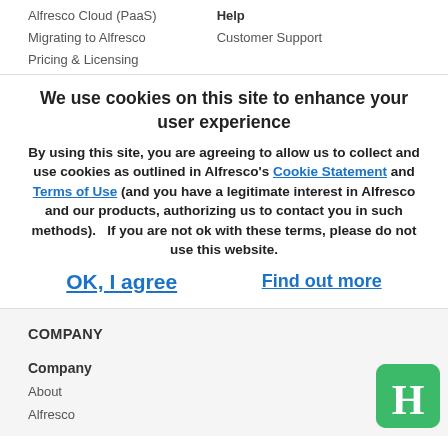Alfresco Cloud (PaaS)
Migrating to Alfresco
Pricing & Licensing
Help
Customer Support
We use cookies on this site to enhance your user experience
By using this site, you are agreeing to allow us to collect and use cookies as outlined in Alfresco's Cookie Statement and Terms of Use (and you have a legitimate interest in Alfresco and our products, authorizing us to contact you in such methods).   If you are not ok with these terms, please do not use this website.
OK, I agree    Find out more
COMPANY
Company
About
Alfresco